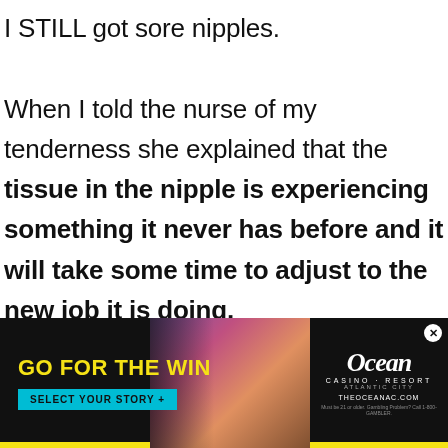I STILL got sore nipples. When I told the nurse of my tenderness she explained that the tissue in the nipple is experiencing something it never has before and it will take some time to adjust to the new job it is doing.
[Figure (screenshot): Advertisement banner for Ocean Casino Resort. Features 'GO FOR THE WIN' headline in yellow, 'SELECT YOUR STORY +' cyan button, photo of people, Ocean Casino Resort logo, and THEOCEANAC.COM URL.]